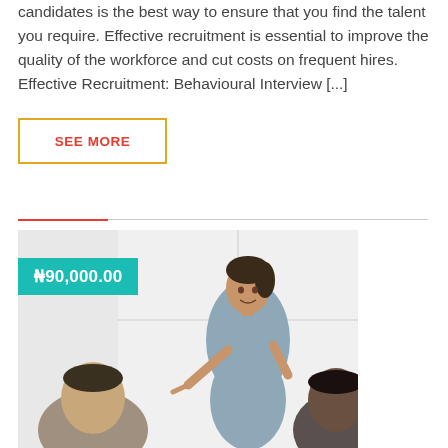candidates is the best way to ensure that you find the talent you require. Effective recruitment is essential to improve the quality of the workforce and cut costs on frequent hires. Effective Recruitment: Behavioural Interview [...]
SEE MORE
[Figure (photo): A woman in a grey sleeveless dress pointing and smiling while presenting to two attendees seen from behind, in a bright room with white walls]